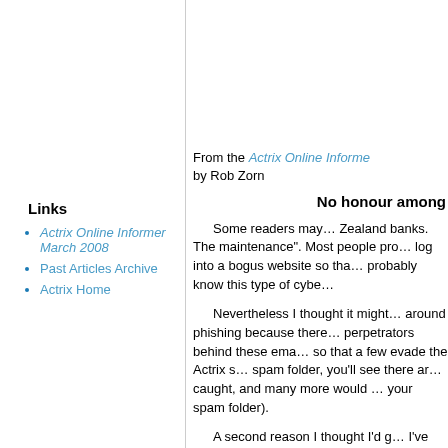From the Actrix Online Informe…
by Rob Zorn
Links
Actrix Online Informer March 2008
Past Articles Archive
Actrix Home
No honour among…
Some readers may… probably know this type of cybe…
Nevertheless I thought it might… your spam folder).
A second reason I thought I'd g… I've noticed the emails themself…